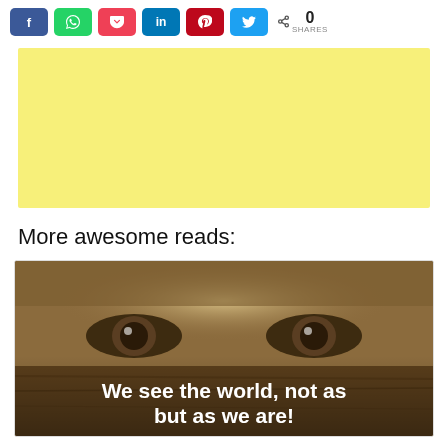[Figure (screenshot): Social share bar with Facebook (blue), WhatsApp (green), Pocket (red), LinkedIn (dark blue), Pinterest (dark red), Twitter (light blue) buttons, and a share count showing 0 SHARES]
[Figure (other): Yellow advertisement banner placeholder]
More awesome reads:
[Figure (photo): Article preview image showing close-up of eyes peeking over a surface with overlaid white bold text: 'We see the world, not as but as we are!']